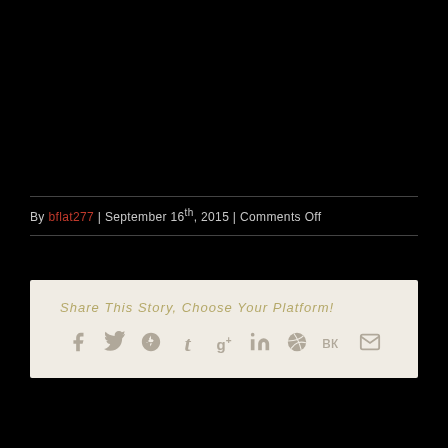By bflat277 | September 16th, 2015 | Comments Off
Share This Story, Choose Your Platform!